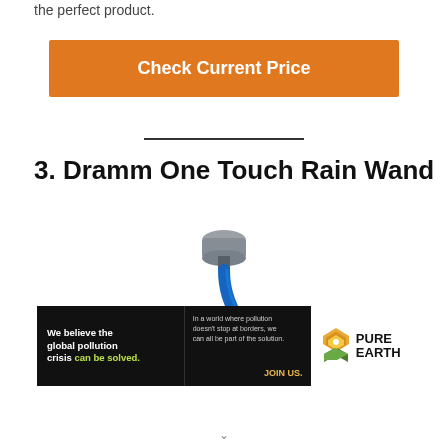the perfect product.
[Figure (other): Orange button with white bold text reading 'Check Current Price']
3. Dramm One Touch Rain Wand
[Figure (photo): Product photo of a blue Dramm One Touch Rain Wand with a gray spray head, curving blue wand handle]
[Figure (other): Pure Earth advertisement banner with black background. Left text: 'We believe the global pollution crisis can be solved.' Middle text: 'In a world where pollution doesn't stop at borders, we can all be part of the solution. JOIN US.' Right: Pure Earth logo with diamond shapes.]